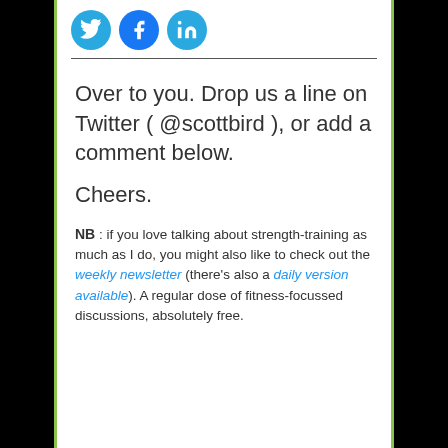[Figure (illustration): Three social media icon circles: Twitter (bird icon), Facebook (f icon), LinkedIn (in icon)]
Over to you. Drop us a line on Twitter ( @scottbird ), or add a comment below.
Cheers.
NB : if you love talking about strength-training as much as I do, you might also like to check out the weekly newsletter (there's also a daily version available). A regular dose of fitness-focussed discussions, absolutely free.